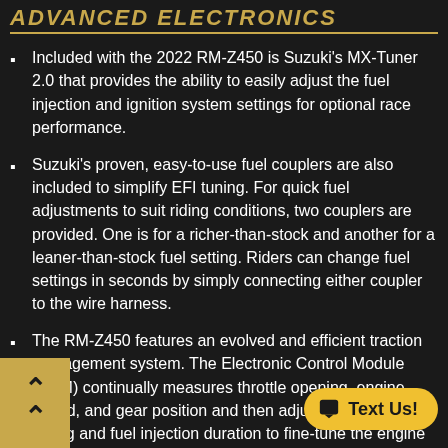ADVANCED ELECTRONICS
Included with the 2022 RM-Z450 is Suzuki's MX-Tuner 2.0 that provides the ability to easily adjust the fuel injection and ignition system settings for optional race performance.
Suzuki's proven, easy-to-use fuel couplers are also included to simplify EFI tuning. For quick fuel adjustments to suit riding conditions, two couplers are provided. One is for a richer-than-stock and another for a leaner-than-stock fuel setting. Riders can change fuel settings in seconds by simply connecting either coupler to the wire harness.
The RM-Z450 features an evolved and efficient traction management system. The Electronic Control Module (ECM) continually measures throttle opening, engine speed, and gear position and then adjusts the ignition timing and fuel injection duration to fine-tune the engine output to ensure the best traction for the riding conditions.